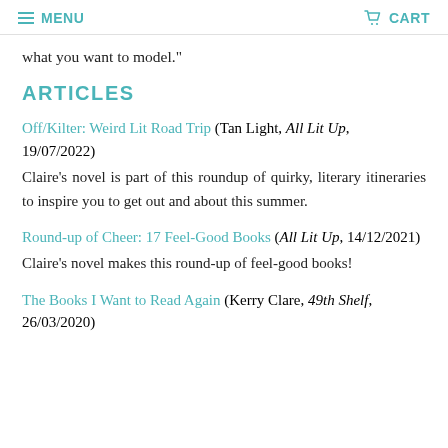MENU   CART
what you want to model."
ARTICLES
Off/Kilter: Weird Lit Road Trip (Tan Light, All Lit Up, 19/07/2022)
Claire's novel is part of this roundup of quirky, literary itineraries to inspire you to get out and about this summer.
Round-up of Cheer: 17 Feel-Good Books (All Lit Up, 14/12/2021)
Claire's novel makes this round-up of feel-good books!
The Books I Want to Read Again (Kerry Clare, 49th Shelf, 26/03/2020)